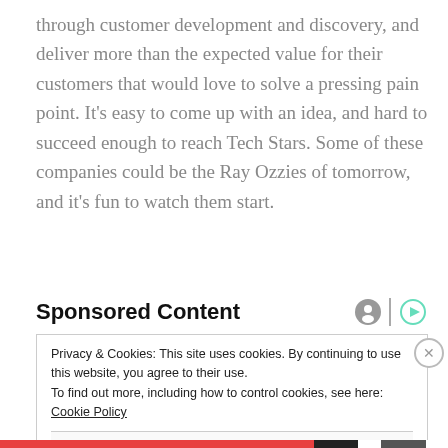through customer development and discovery, and deliver more than the expected value for their customers that would love to solve a pressing pain point. It's easy to come up with an idea, and hard to succeed enough to reach Tech Stars. Some of these companies could be the Ray Ozzies of tomorrow, and it's fun to watch them start.
Sponsored Content
Privacy & Cookies: This site uses cookies. By continuing to use this website, you agree to their use.
To find out more, including how to control cookies, see here: Cookie Policy
Close and accept